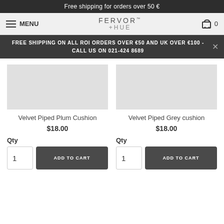Free shipping for orders over 50 €
[Figure (screenshot): Navigation bar with hamburger menu icon and MENU label on the left, FERVOR +HUE logo in center, shopping cart icon with 0 on the right]
FREE SHIPPING ON ALL ROI ORDERS OVER €50 AND UK OVER €100 - CALL US ON 021-424 8689
Velvet Piped Plum Cushion
$18.00
Qty
Velvet Piped Grey cushion
$18.00
Qty